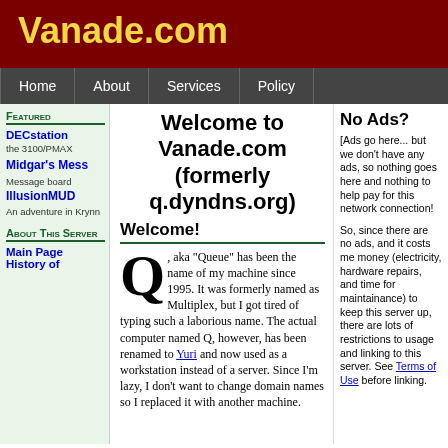Vanade.com
Home | About | Services | Policy
Featured
DECstation the 3100/PMAX
Midgar's Mess
Message board
IllusionMUD
An adventure in Krynn
About This Server
Main Page
History of
Welcome to Vanade.com (formerly q.dyndns.org)
Welcome!
Q, aka "Queue" has been the name of my machine since 1995. It was formerly named as Multiplex, but I got tired of typing such a laborious name. The actual computer named Q, however, has been renamed to Yuri and now used as a workstation instead of a server. Since I'm lazy, I don't want to change domain names so I replaced it with another machine.
No Ads?
[Ads go here... but we don't have any ads, so nothing goes here and nothing to help pay for this network connection!
So, since there are no ads, and it costs me money (electricity, hardware repairs, and time for maintainance) to keep this server up, there are lots of restrictions to usage and linking to this server. See Terms of Use before linking.